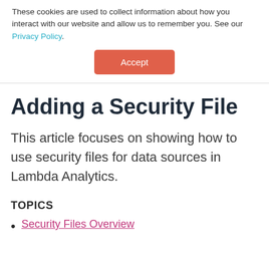These cookies are used to collect information about how you interact with our website and allow us to remember you. See our Privacy Policy.
[Figure (other): Accept button — a coral/red-orange rounded rectangle button with white text 'Accept']
Adding a Security File
This article focuses on showing how to use security files for data sources in Lambda Analytics.
TOPICS
Security Files Overview